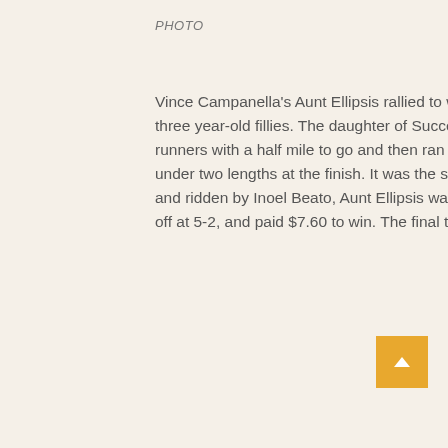PHOTO
Vince Campanella's Aunt Ellipsis rallied to win the $75,000 Dr. Teresa Garofalo Memorial Stakes for three year-old fillies. The daughter of Successful Appeal sat three lengths off a pair of dueling front runners with a half mile to go and then ran past a tired Disco Chick inside the eighth pole to win by just under two lengths at the finish. It was the second stakes win of her career. Trained by Keith LeBarron and ridden by Inoel Beato, Aunt Ellipsis was no better than third choice in the wagering in the field of six, off at 5-2, and paid $7.60 to win. The final time for the six furlongs was 1:11.29.